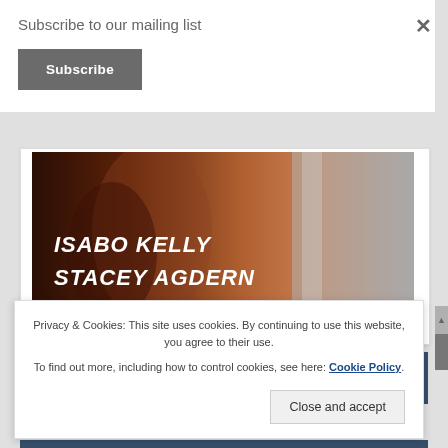Subscribe to our mailing list
Subscribe
[Figure (photo): Book cover showing authors ISABO KELLY, STACEY AGDERN, KENZIE MACLIR with a muscular torso background image]
KINDLE UNLIMITED
Privacy & Cookies: This site uses cookies. By continuing to use this website, you agree to their use.
To find out more, including how to control cookies, see here: Cookie Policy
Close and accept